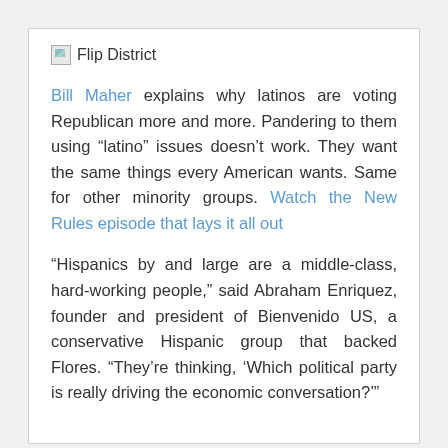[Figure (logo): Broken image placeholder with 'Flip District' text link]
Bill Maher explains why latinos are voting Republican more and more. Pandering to them using “latino” issues doesn’t work. They want the same things every American wants. Same for other minority groups. Watch the New Rules episode that lays it all out
“Hispanics by and large are a middle-class, hard-working people,” said Abraham Enriquez, founder and president of Bienvenido US, a conservative Hispanic group that backed Flores. “They’re thinking, ‘Which political party is really driving the economic conversation?’”